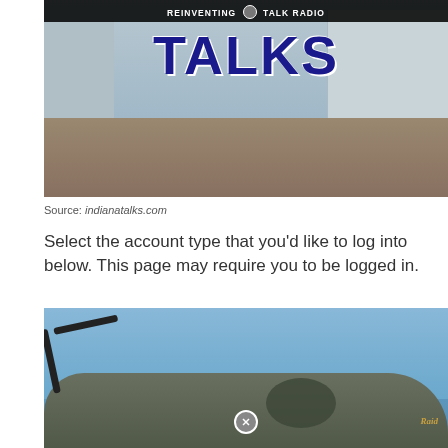[Figure (photo): Indiana Talks radio station promotional image showing 'REINVENTING TALK RADIO' banner and large 'TALKS' text overlay on a city square with monument and buildings in background]
Source: indianatalks.com
Select the account type that you'd like to log into below. This page may require you to be logged in.
[Figure (photo): Photo of a person next to a vintage WWII B-17 bomber aircraft with olive drab paint, propeller visible on left, nose art partially visible on right reading 'Raid']